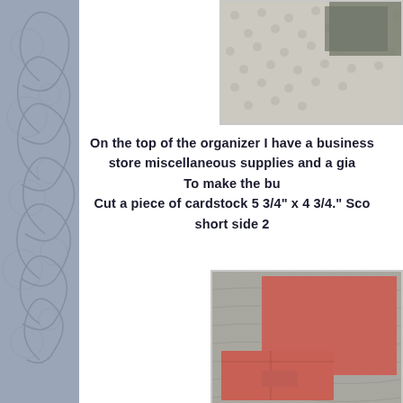[Figure (photo): Top-right photo showing polka dot fabric/paper in gray and white tones with cardstock pieces visible]
On the top of the organizer I have a business store miscellaneous supplies and a gia To make the bu Cut a piece of cardstock 5 3/4" x 4 3/4." Sco short side 2
[Figure (photo): Bottom-right photo showing salmon/terracotta colored cardstock pieces folded and arranged on a gray textured background, demonstrating a business card holder construction step]